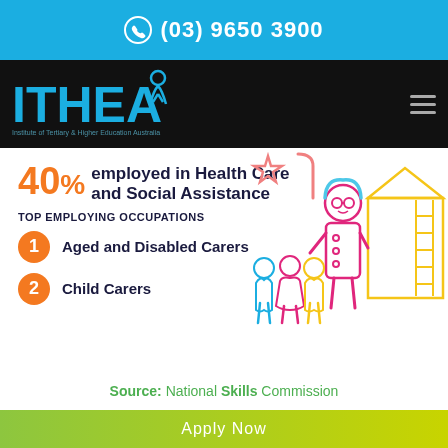(03) 9650 3900
[Figure (logo): ITHEA logo - Institute of Tertiary & Higher Education Australia in blue on black nav bar]
40% employed in Health Care and Social Assistance
TOP EMPLOYING OCCUPATIONS
1 Aged and Disabled Carers
2 Child Carers
[Figure (illustration): Colorful outline illustrations of children and a carer/teacher figure with a star and house/school building]
Source: National Skills Commission
Apply Now